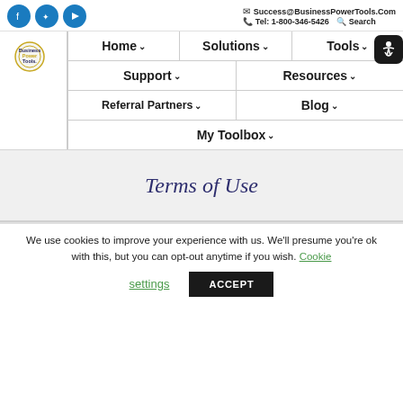Success@BusinessPowerTools.Com | Tel: 1-800-346-5426 | Search
[Figure (logo): Business Power Tools logo with navigation menu including Home, Solutions, Tools, Support, Resources, Referral Partners, Blog, My Toolbox]
Terms of Use
We use cookies to improve your experience with us. We'll presume you're ok with this, but you can opt-out anytime if you wish. Cookie settings ACCEPT